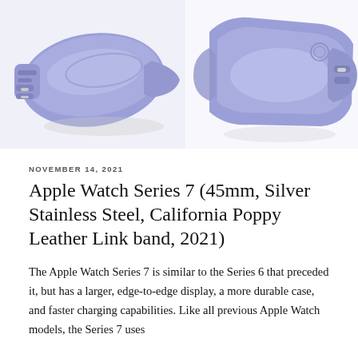[Figure (photo): Two views of a purple/periwinkle silicone Apple Watch band side by side. Left image shows the inner side of the band at an angle on a white surface. Right image shows another angle of the same band against a white background.]
NOVEMBER 14, 2021
Apple Watch Series 7 (45mm, Silver Stainless Steel, California Poppy Leather Link band, 2021)
The Apple Watch Series 7 is similar to the Series 6 that preceded it, but has a larger, edge-to-edge display, a more durable case, and faster charging capabilities. Like all previous Apple Watch models, the Series 7 uses Apple's Digital Crown and a side button. It has the